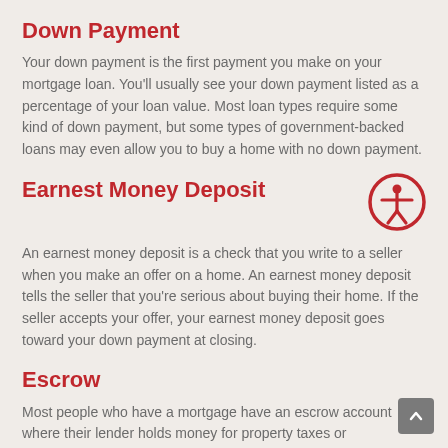Down Payment
Your down payment is the first payment you make on your mortgage loan. You'll usually see your down payment listed as a percentage of your loan value. Most loan types require some kind of down payment, but some types of government-backed loans may even allow you to buy a home with no down payment.
Earnest Money Deposit
[Figure (illustration): Accessibility icon: a circular red border with a white stick figure in a spread-arm pose]
An earnest money deposit is a check that you write to a seller when you make an offer on a home. An earnest money deposit tells the seller that you're serious about buying their home. If the seller accepts your offer, your earnest money deposit goes toward your down payment at closing.
Escrow
Most people who have a mortgage have an escrow account where their lender holds money for property taxes or